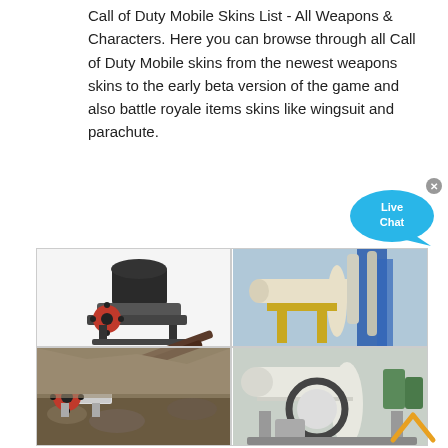Call of Duty Mobile Skins List - All Weapons & Characters. Here you can browse through all Call of Duty Mobile skins from the newest weapons skins to the early beta version of the game and also battle royale items skins like wingsuit and parachute.
[Figure (infographic): Live Chat speech bubble button in cyan/blue color with white text 'Live Chat' and an X close button]
[Figure (photo): A 2x2 grid of industrial mining and milling machinery photos: top-left shows a cone crusher on white background, top-right shows a large rotary kiln or ball mill at an industrial site, bottom-left shows a jaw crusher in operation at a quarry, bottom-right shows a large ball mill machine.]